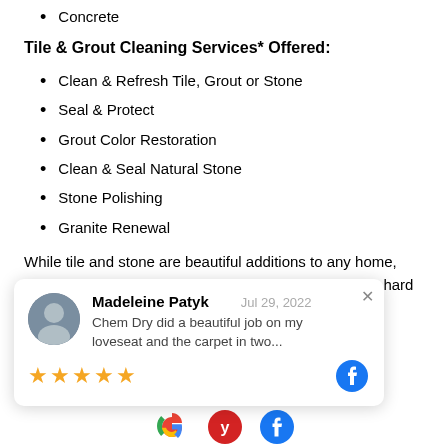Concrete
Tile & Grout Cleaning Services* Offered:
Clean & Refresh Tile, Grout or Stone
Seal & Protect
Grout Color Restoration
Clean & Seal Natural Stone
Stone Polishing
Granite Renewal
While tile and stone are beautiful additions to any home, keeping them clean can be a challenge. Let us do the hard work...one, tile and ...get your family a
[Figure (screenshot): Review card popup from Madeleine Patyk, Jul 29, 2022, 5 stars Facebook review: 'Chem Dry did a beautiful job on my loveseat and the carpet in two...']
[Figure (logo): Google, Yelp, and Facebook logos at the bottom of the page]